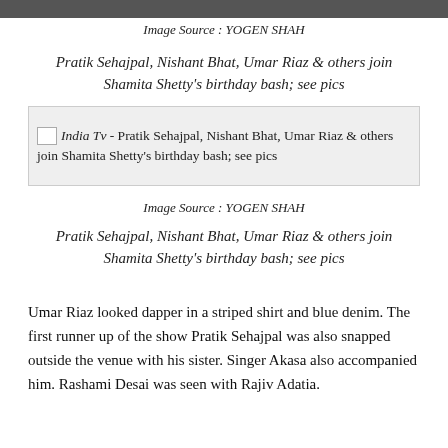[Figure (photo): Top strip showing partial photo of people at a birthday bash]
Image Source : YOGEN SHAH
Pratik Sehajpal, Nishant Bhat, Umar Riaz & others join Shamita Shetty's birthday bash; see pics
[Figure (screenshot): India Tv broken image thumbnail with alt text: Pratik Sehajpal, Nishant Bhat, Umar Riaz & others join Shamita Shetty's birthday bash; see pics]
Image Source : YOGEN SHAH
Pratik Sehajpal, Nishant Bhat, Umar Riaz & others join Shamita Shetty's birthday bash; see pics
Umar Riaz looked dapper in a striped shirt and blue denim. The first runner up of the show Pratik Sehajpal was also snapped outside the venue with his sister. Singer Akasa also accompanied him. Rashami Desai was seen with Rajiv Adatia.